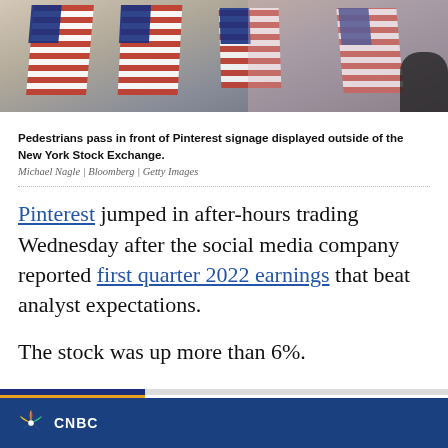[Figure (photo): Pedestrians passing in front of Pinterest signage displayed outside of the New York Stock Exchange, American flags visible in background]
Pedestrians pass in front of Pinterest signage displayed outside of the New York Stock Exchange.
Michael Nagle | Bloomberg | Getty Images
Pinterest jumped in after-hours trading Wednesday after the social media company reported first quarter 2022 earnings that beat analyst expectations.
The stock was up more than 6%.
CNBC